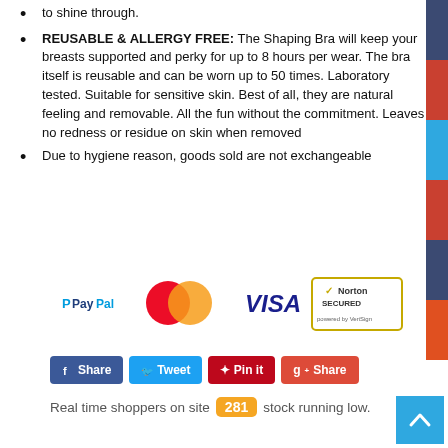to shine through.
REUSABLE & ALLERGY FREE: The Shaping Bra will keep your breasts supported and perky for up to 8 hours per wear. The bra itself is reusable and can be worn up to 50 times. Laboratory tested. Suitable for sensitive skin. Best of all, they are natural feeling and removable. All the fun without the commitment. Leaves no redness or residue on skin when removed
Due to hygiene reason, goods sold are not exchangeable
[Figure (logo): Payment logos: PayPal, MasterCard, VISA, Norton Secured by VeriSign]
Share  Tweet  Pin it  Share
Real time shoppers on site 281 stock running low.